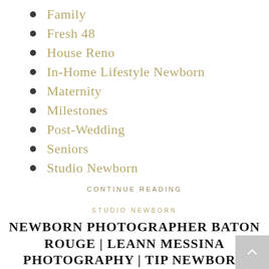Family
Fresh 48
House Reno
In-Home Lifestyle Newborn
Maternity
Milestones
Post-Wedding
Seniors
Studio Newborn
CONTINUE READING
STUDIO NEWBORN
NEWBORN PHOTOGRAPHER BATON ROUGE | LEANN MESSINA PHOTOGRAPHY | TIP NEWBORN SESSION